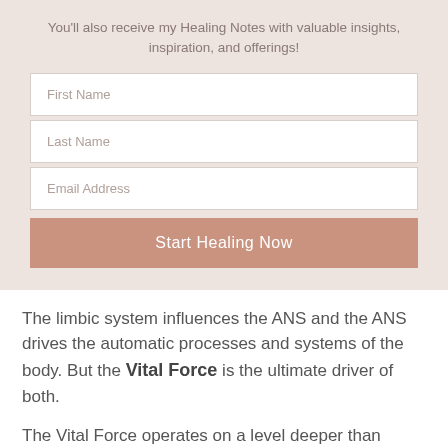You'll also receive my Healing Notes with valuable insights, inspiration, and offerings!
[Figure (other): Web form with First Name, Last Name, Email Address input fields and a Start Healing Now button]
The limbic system influences the ANS and the ANS drives the automatic processes and systems of the body. But the Vital Force is the ultimate driver of both.
The Vital Force operates on a level deeper than hormones and deeper than the nervous or limbic systems. It is the energetic source of your